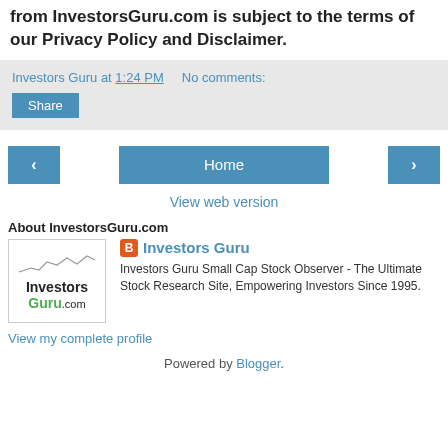from InvestorsGuru.com is subject to the terms of our Privacy Policy and Disclaimer.
Investors Guru at 1:24 PM   No comments:
Share
< Home >
View web version
About InvestorsGuru.com
[Figure (logo): Investors Guru .com logo with stock chart graphic]
Investors Guru
Investors Guru Small Cap Stock Observer - The Ultimate Stock Research Site, Empowering Investors Since 1995.
View my complete profile
Powered by Blogger.